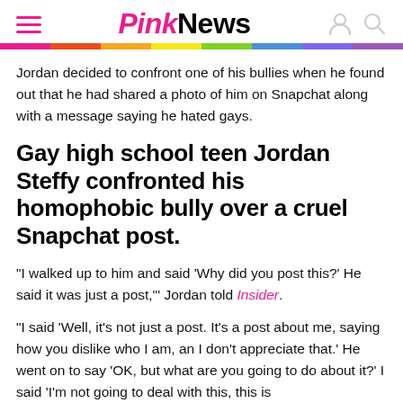PinkNews
Jordan decided to confront one of his bullies when he found out that he had shared a photo of him on Snapchat along with a message saying he hated gays.
Gay high school teen Jordan Steffy confronted his homophobic bully over a cruel Snapchat post.
“I walked up to him and said ‘Why did you post this?’ He said it was just a post,‘” Jordan told Insider.
“I said ‘Well, it’s not just a post. It’s a post about me, saying how you dislike who I am, an I don’t appreciate that.’ He went on to say ‘OK, but what are you going to do about it?’ I said ‘I’m not going to deal with this, this is